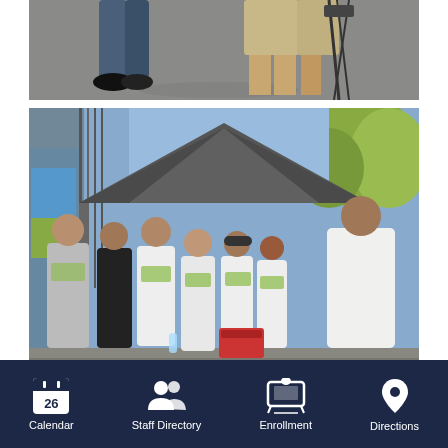[Figure (photo): Top photo showing people's legs from waist down standing on pavement, with a camera tripod visible]
[Figure (photo): Group of students and adults wearing white t-shirts gathered under a gray canopy tent outdoors, with a fence and trees in background, one person speaking to the group]
In October of 2015, a gang-related shooting took place just three minutes from our school site in Canoga Park, leaving an innocent bystander dead
Calendar | Staff Directory | Enrollment | Directions